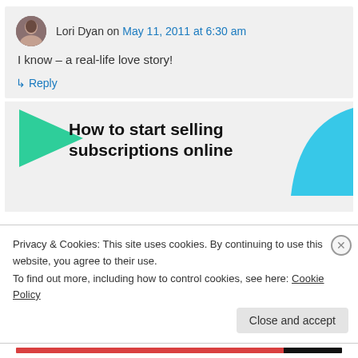Lori Dyan on May 11, 2011 at 6:30 am
I know – a real-life love story!
↳ Reply
[Figure (illustration): Advertisement banner for 'How to start selling subscriptions online' with a green arrow shape top-left and a blue curved shape top-right on a light gray background.]
Privacy & Cookies: This site uses cookies. By continuing to use this website, you agree to their use. To find out more, including how to control cookies, see here: Cookie Policy
Close and accept